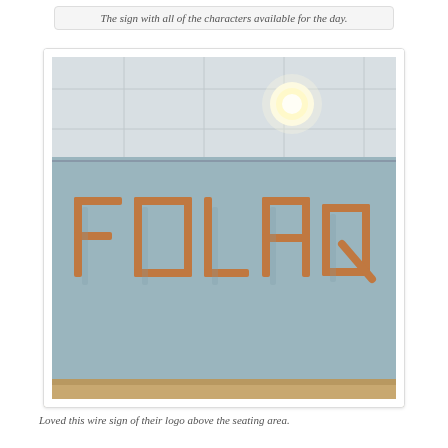The sign with all of the characters available for the day.
[Figure (photo): A photo of copper pipe letters spelling out a word mounted on a light blue wall above a seating area, with ceiling lights visible above.]
Loved this wire sign of their logo above the seating area.